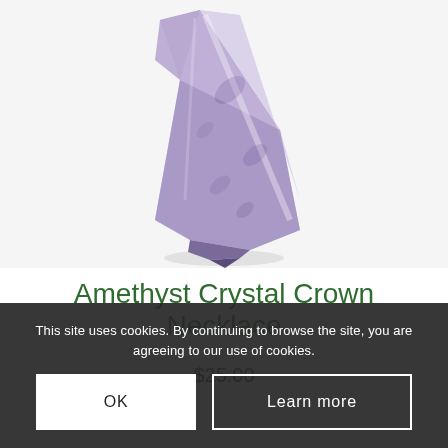[Figure (photo): An amethyst crystal point/wand photographed diagonally on a white background, showing purple and clear crystal with faceted surfaces.]
Amethyst Crystal Crown Necklace
$25.00
This site uses cookies. By continuing to browse the site, you are agreeing to our use of cookies.
OK
Learn more